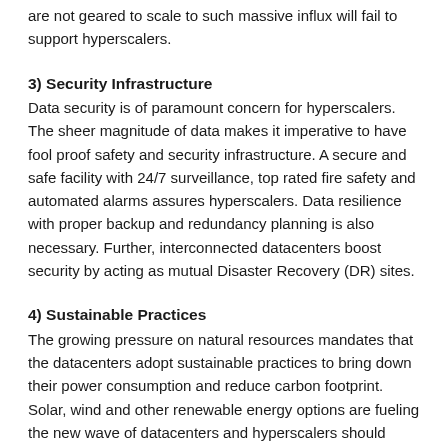are not geared to scale to such massive influx will fail to support hyperscalers.
3) Security Infrastructure
Data security is of paramount concern for hyperscalers. The sheer magnitude of data makes it imperative to have fool proof safety and security infrastructure. A secure and safe facility with 24/7 surveillance, top rated fire safety and automated alarms assures hyperscalers. Data resilience with proper backup and redundancy planning is also necessary. Further, interconnected datacenters boost security by acting as mutual Disaster Recovery (DR) sites.
4) Sustainable Practices
The growing pressure on natural resources mandates that the datacenters adopt sustainable practices to bring down their power consumption and reduce carbon footprint. Solar, wind and other renewable energy options are fueling the new wave of datacenters and hyperscalers should choose a partner with a